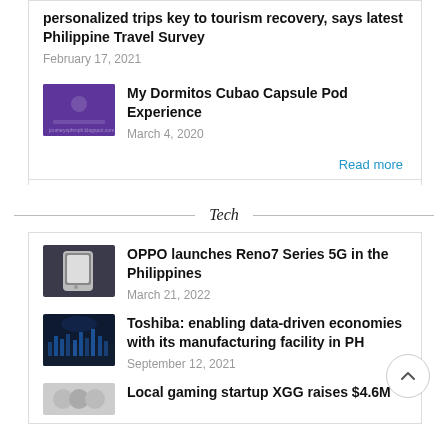personalized trips key to tourism recovery, says latest Philippine Travel Survey
February 17, 2021
[Figure (photo): Purple-toned thumbnail image for Dormitos Cubao Capsule Pod article]
My Dormitos Cubao Capsule Pod Experience
March 4, 2020
Read more
Tech
[Figure (photo): Thumbnail image of OPPO Reno7 Series 5G phone]
OPPO launches Reno7 Series 5G in the Philippines
March 21, 2022
[Figure (photo): Thumbnail image of city skyline for Toshiba article]
Toshiba: enabling data-driven economies with its manufacturing facility in PH
September 12, 2021
Local gaming startup XGG raises $4.6M